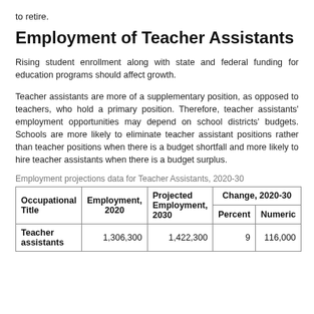to retire.
Employment of Teacher Assistants
Rising student enrollment along with state and federal funding for education programs should affect growth.
Teacher assistants are more of a supplementary position, as opposed to teachers, who hold a primary position. Therefore, teacher assistants' employment opportunities may depend on school districts' budgets. Schools are more likely to eliminate teacher assistant positions rather than teacher positions when there is a budget shortfall and more likely to hire teacher assistants when there is a budget surplus.
Employment projections data for Teacher Assistants, 2020-30
| Occupational Title | Employment, 2020 | Projected Employment, 2030 | Percent | Numeric |
| --- | --- | --- | --- | --- |
| Teacher assistants | 1,306,300 | 1,422,300 | 9 | 116,000 |